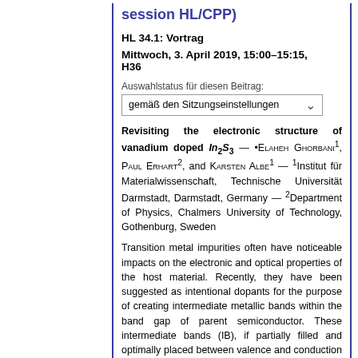session HL/CPP)
HL 34.1: Vortrag
Mittwoch, 3. April 2019, 15:00–15:15, H36
Auswahlstatus für diesen Beitrag:
gemäß den Sitzungseinstellungen
Revisiting the electronic structure of vanadium doped In2S3 — •Elaheh Ghorbani1, Paul Erhart2, and Karsten Albe1 — 1Institut für Materialwissenschaft, Technische Universität Darmstadt, Darmstadt, Germany — 2Department of Physics, Chalmers University of Technology, Gothenburg, Sweden
Transition metal impurities often have noticeable impacts on the electronic and optical properties of the host material. Recently, they have been suggested as intentional dopants for the purpose of creating intermediate metallic bands within the band gap of parent semiconductor. These intermediate bands (IB), if partially filled and optimally placed between valence and conduction bands, can collect photons of sub-band gap energies and enhance the photocurrent density.